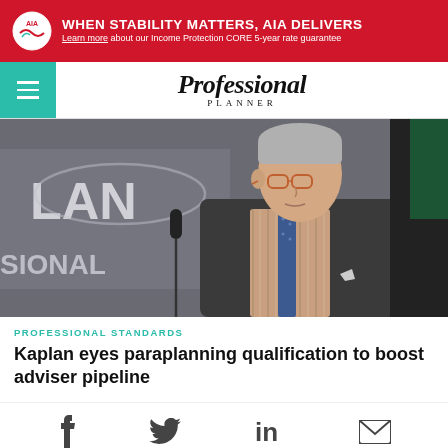[Figure (photo): AIA advertisement banner: red background with AIA logo, bold white text 'WHEN STABILITY MATTERS, AIA DELIVERS' and subtext 'Learn more about our Income Protection CORE 5-year rate guarantee']
Professional Planner
[Figure (photo): Elderly man with grey hair and glasses speaking at a podium with microphone, wearing a dark suit and striped shirt with blue tie, in front of a banner reading 'LAN' and 'SIONAL']
PROFESSIONAL STANDARDS
Kaplan eyes paraplanning qualification to boost adviser pipeline